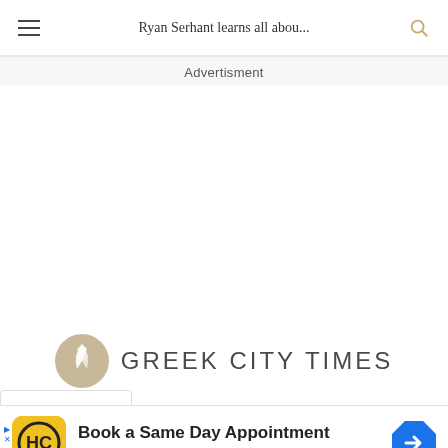Ryan Serhant learns all abou...
Advertisment
[Figure (logo): Greek City Times logo with stylized leaf/feather icon and the text GREEK CITY TIMES]
[Figure (infographic): Hair Cuttery advertisement banner: Book a Same Day Appointment - Hair Cuttery, with HC logo and blue arrow icon]